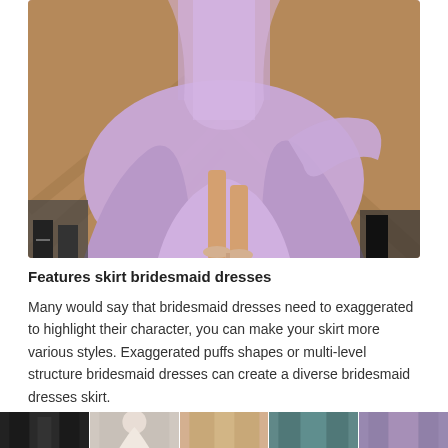[Figure (photo): A model on a runway wearing a flowing lavender/light purple chiffon dress, showing the skirt billowing around her legs. She is wearing nude heels. The floor is a parquet wood pattern. Other people are partially visible at the edges.]
Features skirt bridesmaid dresses
Many would say that bridesmaid dresses need to exaggerated to highlight their character, you can make your skirt more various styles. Exaggerated puffs shapes or multi-level structure bridesmaid dresses can create a diverse bridesmaid dresses skirt.
[Figure (photo): A strip of small thumbnail photos at the bottom of the page showing various bridesmaid dress styles.]